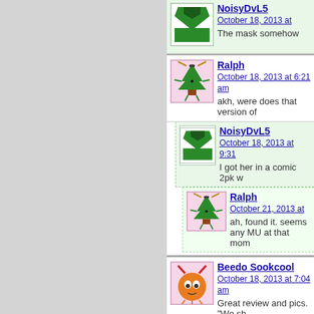NoisyDvL5
October 18, 2013 at
The mask somehow
Ralph
October 18, 2013 at 6:21 am
akh, were does that version of
NoisyDvL5
October 18, 2013 at 9:31
I got her in a comic 2pk w
Ralph
October 21, 2013 at
ah, found it. seems
any MU at that mom
Beedo Sookcool
October 18, 2013 at 7:04 am
Great review and pics. "We sh
go change my pants.